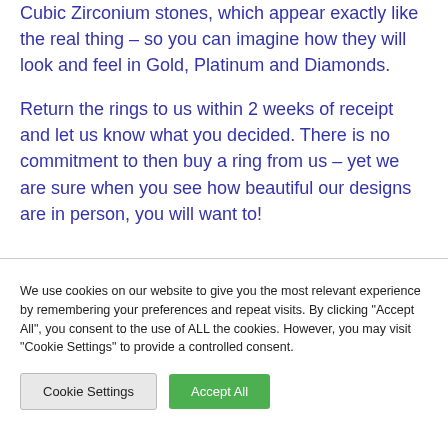Cubic Zirconium stones, which appear exactly like the real thing – so you can imagine how they will look and feel in Gold, Platinum and Diamonds.
Return the rings to us within 2 weeks of receipt and let us know what you decided. There is no commitment to then buy a ring from us – yet we are sure when you see how beautiful our designs are in person, you will want to!
We use cookies on our website to give you the most relevant experience by remembering your preferences and repeat visits. By clicking "Accept All", you consent to the use of ALL the cookies. However, you may visit "Cookie Settings" to provide a controlled consent.